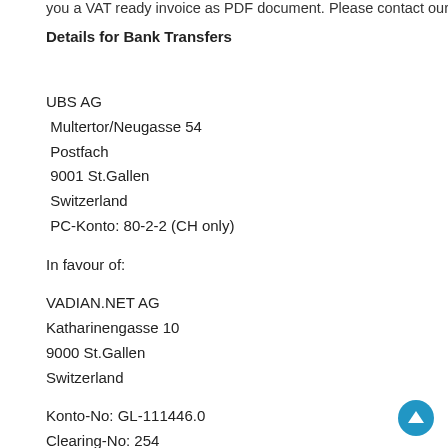you a VAT ready invoice as PDF document. Please contact our
Details for Bank Transfers
UBS AG
 Multertor/Neugasse 54
 Postfach
 9001 St.Gallen
 Switzerland
 PC-Konto: 80-2-2 (CH only)

In favour of:

VADIAN.NET AG
Katharinengasse 10
9000 St.Gallen
Switzerland

Konto-No: GL-111446.0
Clearing-No: 254
SWIFT-Code: UBSWCHZH80A